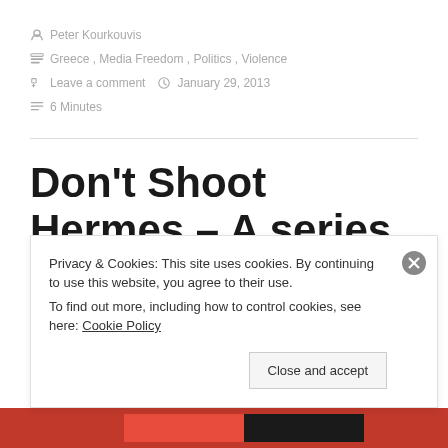Peter Kourkouvis
Greece, Media Freedom, Politics, Violence
Leave a comment   January 29, 2013
6 Minutes
Don't Shoot Hermes – A series on the state of media freedom in Greece
Privacy & Cookies: This site uses cookies. By continuing to use this website, you agree to their use.
To find out more, including how to control cookies, see here: Cookie Policy
Close and accept